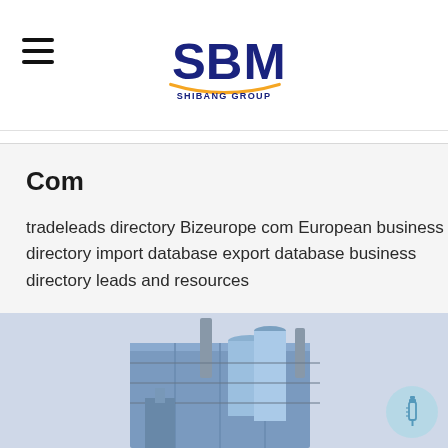[Figure (logo): SBM Shibang Group logo with blue letters and gold swoosh, hamburger menu icon on left]
Com
tradeleads directory Bizeurope com European business directory import database export database business directory leads and resources
[Figure (photo): Industrial machinery / plant equipment building, blue silos and smokestacks, with a syringe/injection icon floating in a circle at bottom right]